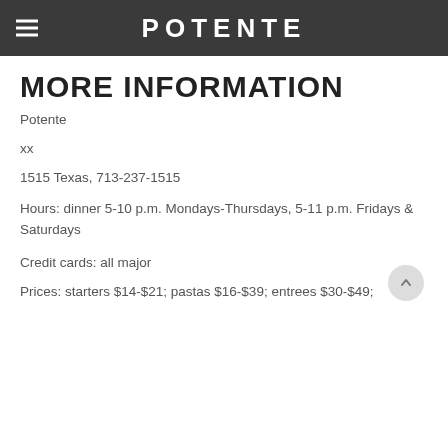POTENTE
MORE INFORMATION
Potente
xx
1515 Texas, 713-237-1515
Hours: dinner 5-10 p.m. Mondays-Thursdays, 5-11 p.m. Fridays & Saturdays
Credit cards: all major
Prices: starters $14-$21; pastas $16-$39; entrees $30-$49;